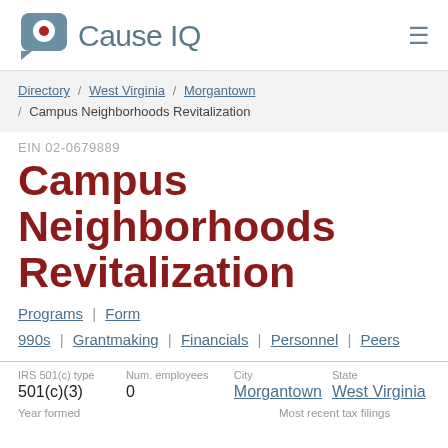[Figure (logo): Cause IQ logo with circular icon and text]
Directory / West Virginia / Morgantown / Campus Neighborhoods Revitalization
EIN 02-0679889
Campus Neighborhoods Revitalization
Programs | Form 990s | Grantmaking | Financials | Personnel | Peers
| IRS 501(c) type | Num. employees | City | State |
| --- | --- | --- | --- |
| 501(c)(3) | 0 | Morgantown | West Virginia |
Year formed
Most recent tax filings